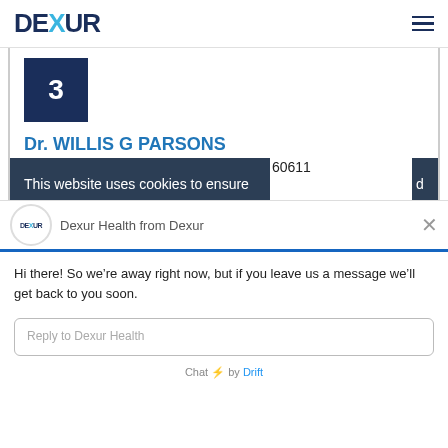DEXUR
[Figure (other): Number badge showing 3 in a dark navy square]
Dr. WILLIS G PARSONS
676 N SAINT CLAIR ST, CHICAGO, IL, 60611
This website uses cookies to ensure you get [best] experience on our website. By using
Dexur Health from Dexur
Hi there! So we’re away right now, but if you leave us a message we’ll get back to you soon.
Reply to Dexur Health
Chat ⚡ by Drift